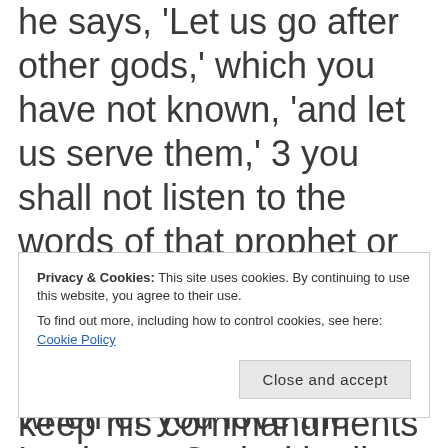he says, 'Let us go after other gods,' which you have not known, 'and let us serve them,' 3 you shall not listen to the words of that prophet or that dreamer of dreams. For the Lord your God is testing you, to know whether you love the Lord your God with all your
Privacy & Cookies: This site uses cookies. By continuing to use this website, you agree to their use.
To find out more, including how to control cookies, see here: Cookie Policy
keep his commandments and